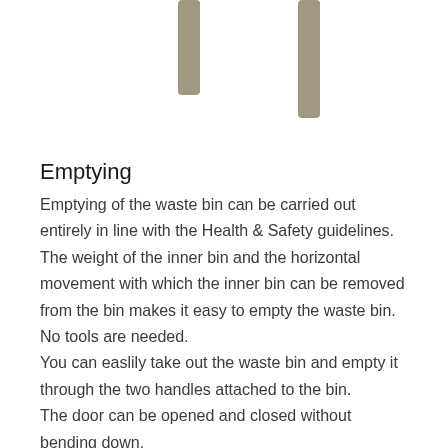[Figure (illustration): Two vertical cylindrical rods or posts shown from above, partially visible at the top of the page, colored in a muted gray-brown tone.]
Emptying
Emptying of the waste bin can be carried out entirely in line with the Health & Safety guidelines. The weight of the inner bin and the horizontal movement with which the inner bin can be removed from the bin makes it easy to empty the waste bin. No tools are needed.
You can easlily take out the waste bin and empty it through the two handles attached to the bin.
The door can be opened and closed without bending down.